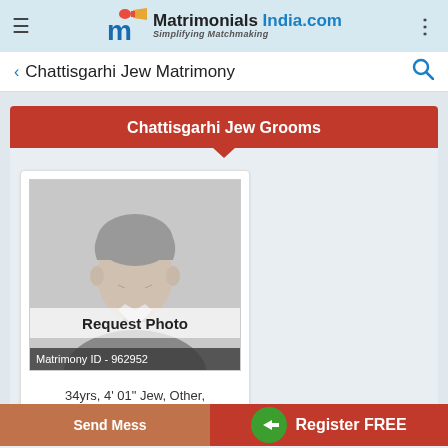Matrimonials India.com - Simplifying Matchmaking
Chattisgarhi Jew Matrimony
Chattisgarhi Jew Grooms
[Figure (illustration): Male silhouette placeholder image with 'Request Photo' text and Matrimony ID - 962952 overlay]
34yrs, 4' 01" Jew, Other, Chattisgarhi, Zambia
Send Message   Register FREE